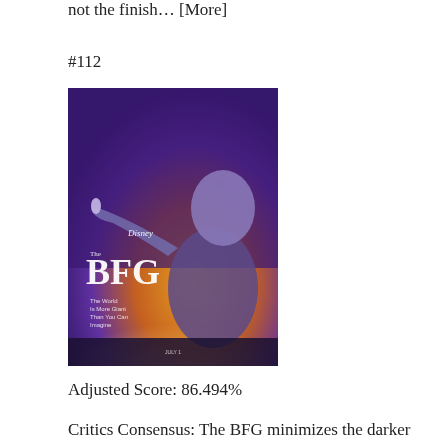not the finish… [More]
#112
[Figure (photo): Movie poster for Disney's The BFG featuring a large friendly giant kneeling and holding a small girl in his palm against a purple and golden sunset background. Text reads 'Disney The BFG' and 'JULY 1']
Adjusted Score: 86.494%
Critics Consensus: The BFG minimizes the darker